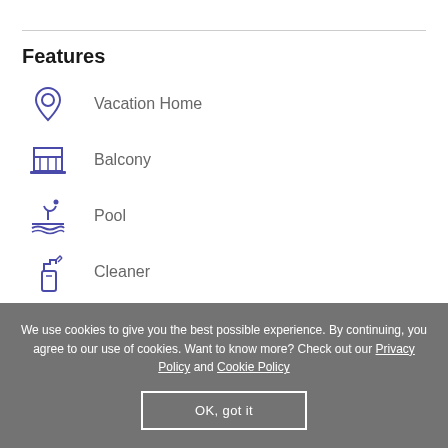Features
Vacation Home
Balcony
Pool
Cleaner
Cable TV
We use cookies to give you the best possible experience. By continuing, you agree to our use of cookies. Want to know more? Check out our Privacy Policy and Cookie Policy
OK, got it